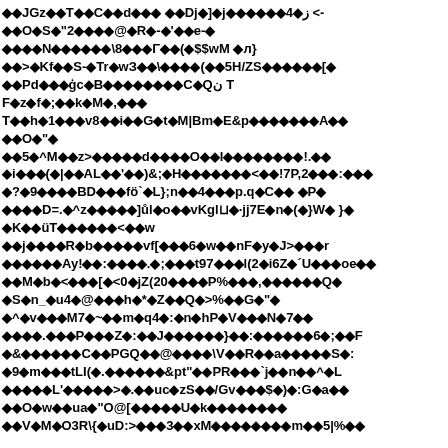◆◆JGz◆◆T◆◆C◆◆d◆◆◆ ◆◆Dj◆]◆j◆◆◆◆◆◆4◆ز <-◆◆O◆S◆"2◆◆◆◆@◆R◆-◆'◆◆e-◆◆◆◆◆N◆◆◆◆◆◆\8◆◆◆Γ◆◆(◆$$wM ◆л}◆◆>◆Kf◆◆S-◆Tr◆wЗ◆◆\◆◆◆◆(◆◆5H/ZS◆◆◆◆◆◆[◆◆◆Pd◆◆◆◆ģc◆B◆◆◆◆◆◆◆◆C◆Qن TF◆z◆f◆;◆◆k◆M◆,◆◆◆T◆◆h◆1◆◆◆v8◆◆i◆◆G◆t◆M|Bm◆E&p◆◆◆◆◆◆◆A◆◆◆◆O◆"◆◆◆5◆^M◆◆z>◆◆◆◆◆d◆◆◆◆O◆◆l◆◆◆◆◆◆◆◆!.◆◆◆◆i◆◆◆(◆|◆◆AL◆◆'◆◆)&;◆H◆◆◆◆◆◆◆<◆◆!7P,2◆◆◆:◆◆◆◆◆?◆9◆◆◆◆BD◆◆◆fö`◆L};n◆◆4◆◆◆p.q◆C◆◆◆ ◆P◆◆◆◆◆◆D=.◆^z◆◆◆◆◆◆]ůl◆o◆◆vKgl⊔◆·jj7E◆n◆(◆}W◆ }◆◆K◆◆üT◆◆◆◆◆◆<◆◆w◆◆j◆◆◆◆R◆b◆◆◆◆◆vf[◆◆◆6◆w◆◆nF◆y◆J>◆◆◆r◆◆◆◆◆◆◆◆Ay!◆◆:◆◆◆◆.◆;◆◆◆t97◆◆◆l(2◆i6Z◆´U◆◆◆oe◆◆◆◆M◆b◆<◆◆◆[◆<0◆jZ(20◆◆◆◆P%◆◆◆,◆◆◆◆◆◆Q◆◆◆S◆n_◆u4◆@◆◆◆h◆*◆Z◆◆Q◆>%◆◆G◆"◆◆^◆v◆◆◆M7◆~◆◆m◆q4◆:◆n◆hP◆V◆◆◆N◆7◆◆◆◆◆◆◆.◆◆◆P◆◆◆Z◆:◆◆J◆◆◆◆◆◆}◆◆:◆◆◆◆◆◆6◆;◆◆F◆◆&◆◆◆◆◆◆C◆◆PGQ◆◆@◆◆◆◆\V◆◆R◆◆a◆◆◆◆◆S◆:◆◆9◆m◆◆◆tLI(◆.◆◆◆◆◆◆&pt"◆◆PR◆◆◆`j◆◆n◆◆^◆L◆◆◆◆◆◆L'◆◆◆◆◆>◆.◆◆uc◆zS◆◆/Gv◆◆◆$◆)◆:G◆a◆◆◆◆O◆w◆◆ua◆"O@[◆◆◆◆◆U◆k◆◆◆◆◆◆◆◆◆◆◆◆V◆M◆O3R\{◆uD:>◆◆◆3◆◆xM◆◆◆◆◆◆◆◆m◆◆5|%◆◆